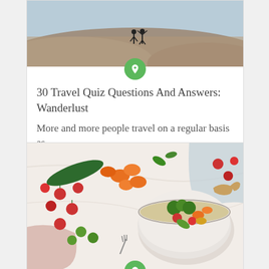[Figure (photo): Two people silhouetted on a hilltop with grass and sky background — travel themed image]
30 Travel Quiz Questions And Answers: Wanderlust
More and more people travel on a regular basis as …
[Figure (photo): Overhead view of colorful vegetables and a bowl of healthy food with grains and vegetables]
29 Healthy Food Quiz Questions And